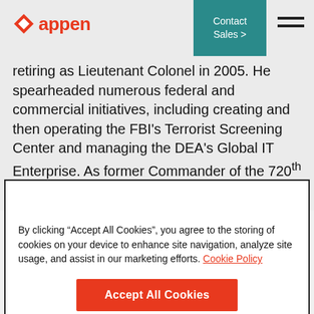[Figure (logo): Appen logo with red diamond icon and red 'appen' wordmark]
Contact Sales >
retiring as Lieutenant Colonel in 2005. He spearheaded numerous federal and commercial initiatives, including creating and then operating the FBI's Terrorist Screening Center and managing the DEA's Global IT Enterprise. As former Commander of the 720th Military Police Battalion, he holds
By clicking “Accept All Cookies”, you agree to the storing of cookies on your device to enhance site navigation, analyze site usage, and assist in our marketing efforts. Cookie Policy
Accept All Cookies
Cookies Settings